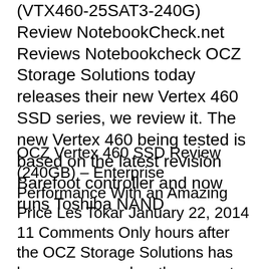(VTX460-25SAT3-240G) Review NotebookCheck.net Reviews Notebookcheck OCZ Storage Solutions today releases their new Vertex 460 SSD series, we review it. The new Vertex 460 being tested is based on the latest revision Barefoot controller and now runs Toshiba NAND
OCZ Vertex 460 SSD Review (240GB) – Enterprise Performance With an Amazing Price Les Tokar January 22, 2014 11 Comments Only hours after the OCZ Storage Solutions has been announced as the newest member of the Toshiba Group Company, , OCZ is releasing a brand new 460 Series SSD, relying on new partnerships and Toshiba NAND flash memory. OCZ Vertex 460 SSD Review (240GB) –